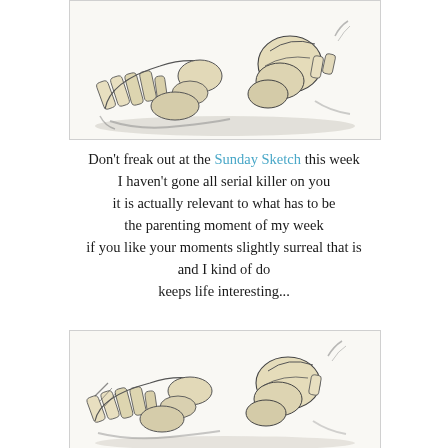[Figure (illustration): Medical illustration of human foot and ankle bones (skeleton), viewed from the side, showing metatarsals, tarsals, and ankle joint in a detailed pencil/watercolor sketch style with beige bone coloring and dark shading.]
Don't freak out at the Sunday Sketch this week I haven't gone all serial killer on you it is actually relevant to what has to be the parenting moment of my week if you like your moments slightly surreal that is and I kind of do keeps life interesting...
[Figure (illustration): Second medical illustration of human foot and ankle bones (skeleton), similar to the first, showing metatarsals and ankle in pencil/watercolor sketch style with beige and dark shading, cropped slightly differently.]